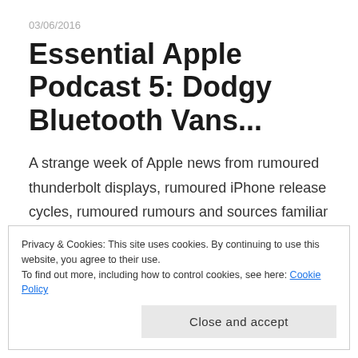03/06/2016
Essential Apple Podcast 5: Dodgy Bluetooth Vans...
A strange week of Apple news from rumoured thunderbolt displays, rumoured iPhone release cycles, rumoured rumours and sources familiar with the matter. Yet we
Privacy & Cookies: This site uses cookies. By continuing to use this website, you agree to their use.
To find out more, including how to control cookies, see here: Cookie Policy
Close and accept